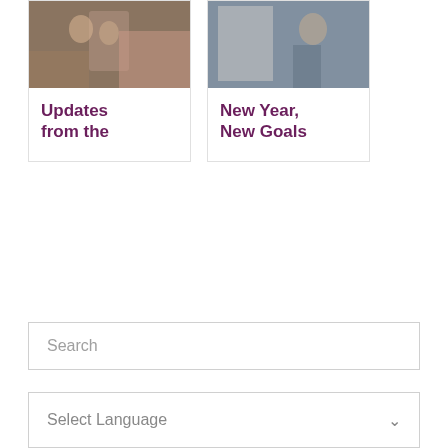[Figure (photo): Two people outdoors near a pink car on a city street]
Updates from the
[Figure (photo): A man standing near a whiteboard in an indoor setting]
New Year, New Goals
Search
Select Language